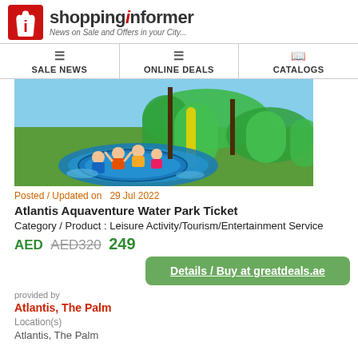shoppinginformer – News on Sale and Offers in your City...
SALE NEWS | ONLINE DEALS | CATALOGS
[Figure (photo): Waterpark photo showing people on a circular tube ride on water with large green waterslide tubes in background]
Posted / Updated on  29 Jul 2022
Atlantis Aquaventure Water Park Ticket
Category / Product : Leisure Activity/Tourism/Entertainment Service
AED AED320 249
Details / Buy at greatdeals.ae
provided by
Atlantis, The Palm
Location(s)
Atlantis, The Palm